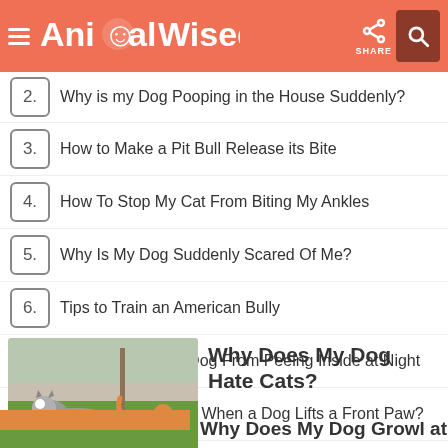AnimalWised
2. Why is my Dog Pooping in the House Suddenly?
3. How to Make a Pit Bull Release its Bite
4. How To Stop My Cat From Biting My Ankles
5. Why Is My Dog Suddenly Scared Of Me?
6. Tips to Train an American Bully
7. How to Stop Your Dog From Peeing Inside at Night
8. What Does It Mean When a Dog Lifts a Front Paw?
[Figure (photo): A dog and a cat facing each other on grass outdoors]
Why Does My Dog Hate Cats?
Why Does My Dog Growl at...